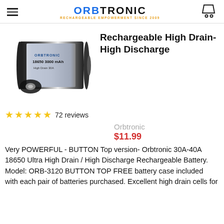ORBTRONIC — RECHARGEABLE EMPOWERMENT SINCE 2009
[Figure (photo): Orbtronic 18650 rechargeable battery, cylindrical black battery with label]
Rechargeable High Drain-High Discharge
★★★★★ 72 reviews
Orbtronic
$11.99
Very POWERFUL - BUTTON Top version- Orbtronic 30A-40A 18650 Ultra High Drain / High Discharge Rechargeable Battery. Model: ORB-3120 BUTTON TOP FREE battery case included with each pair of batteries purchased. Excellent high drain cells for